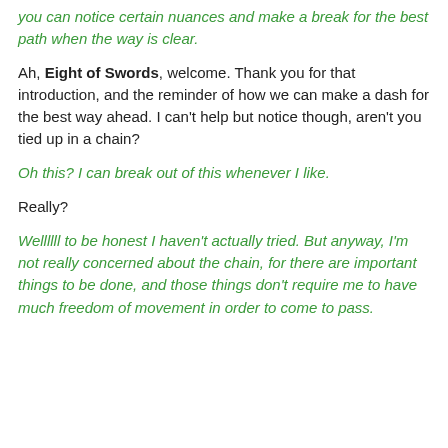you can notice certain nuances and make a break for the best path when the way is clear.
Ah, Eight of Swords, welcome. Thank you for that introduction, and the reminder of how we can make a dash for the best way ahead. I can't help but notice though, aren't you tied up in a chain?
Oh this? I can break out of this whenever I like.
Really?
Wellllll to be honest I haven't actually tried. But anyway, I'm not really concerned about the chain, for there are important things to be done, and those things don't require me to have much freedom of movement in order to come to pass.